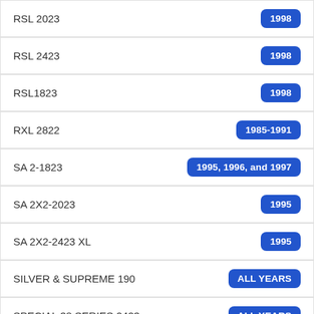RSL 2023
RSL 2423
RSL1823
RXL 2822
SA 2-1823
SA 2X2-2023
SA 2X2-2423 XL
SILVER & SUPREME 190
SPECIAL 38 SERIES 2423
SPORT ANGLER 2 DSA 2-1822